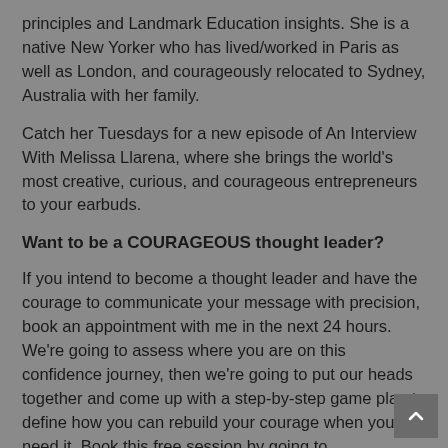principles and Landmark Education insights. She is a native New Yorker who has lived/worked in Paris as well as London, and courageously relocated to Sydney, Australia with her family.
Catch her Tuesdays for a new episode of An Interview With Melissa Llarena, where she brings the world's most creative, curious, and courageous entrepreneurs to your earbuds.
Want to be a COURAGEOUS thought leader?
If you intend to become a thought leader and have the courage to communicate your message with precision, book an appointment with me in the next 24 hours. We're going to assess where you are on this confidence journey, then we're going to put our heads together and come up with a step-by-step game plan to define how you can rebuild your courage when you need it. Book this free session by going to http://www.melissallarena.com/sessions.